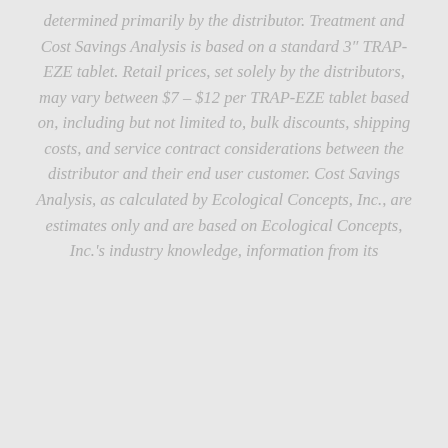determined primarily by the distributor. Treatment and Cost Savings Analysis is based on a standard 3" TRAP-EZE tablet. Retail prices, set solely by the distributors, may vary between $7 – $12 per TRAP-EZE tablet based on, including but not limited to, bulk discounts, shipping costs, and service contract considerations between the distributor and their end user customer. Cost Savings Analysis, as calculated by Ecological Concepts, Inc., are estimates only and are based on Ecological Concepts, Inc.'s industry knowledge, information from its